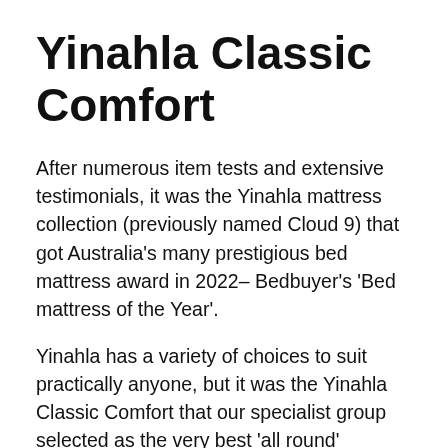Yinahla Classic Comfort
After numerous item tests and extensive testimonials, it was the Yinahla mattress collection (previously named Cloud 9) that got Australia's many prestigious bed mattress award in 2022– Bedbuyer's 'Bed mattress of the Year'.
Yinahla has a variety of choices to suit practically anyone, but it was the Yinahla Classic Comfort that our specialist group selected as the very best 'all round' mattress in this collection.
The Yinahla Classic Comfort has a...